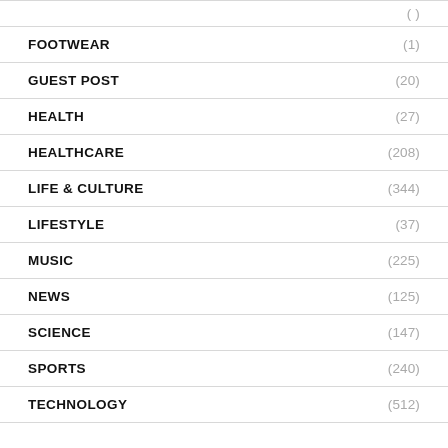FOOTWEAR (1)
GUEST POST (20)
HEALTH (27)
HEALTHCARE (208)
LIFE & CULTURE (344)
LIFESTYLE (37)
MUSIC (225)
NEWS (125)
SCIENCE (147)
SPORTS (240)
TECHNOLOGY (512)